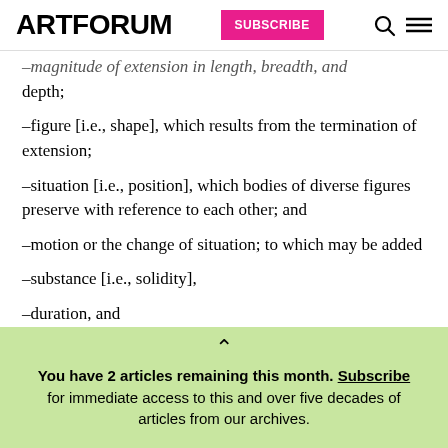ARTFORUM | SUBSCRIBE
–magnitude of extension in length, breadth, and depth;
–figure [i.e., shape], which results from the termination of extension;
–situation [i.e., position], which bodies of diverse figures preserve with reference to each other; and
–motion or the change of situation; to which may be added
–substance [i.e., solidity],
–duration, and
You have 2 articles remaining this month. Subscribe for immediate access to this and over five decades of articles from our archives.